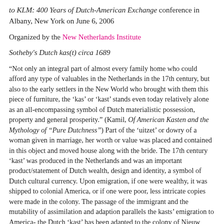to KLM: 400 Years of Dutch-American Exchange conference in Albany, New York on June 6, 2006
Organized by the New Netherlands Institute
Sotheby's Dutch kas(t) circa 1689
“Not only an integral part of almost every family home who could afford any type of valuables in the Netherlands in the 17th century, but also to the early settlers in the New World who brought with them this piece of furniture, the ‘kas’ or ‘kast’ stands even today relatively alone as an all-encompassing symbol of Dutch materialistic possession, property and general prosperity.” (Kamil, Of American Kasten and the Mythology of “Pure Dutchness”) Part of the ‘uitzet’ or dowry of a woman given in marriage, her worth or value was placed and contained in this object and moved house along with the bride. The 17th century ‘kast’ was produced in the Netherlands and was an important product/statement of Dutch wealth, design and identity, a symbol of Dutch cultural currency. Upon emigration, if one were wealthy, it was shipped to colonial America, or if one were poor, less intricate copies were made in the colony. The passage of the immigrant and the mutability of assimilation and adaption parallels the kasts’ emigration to America- the Dutch ‘kast’ has been adapted to the colony of Nieuw Amsterdam, now N.Y.C. The American kas (or kast) has